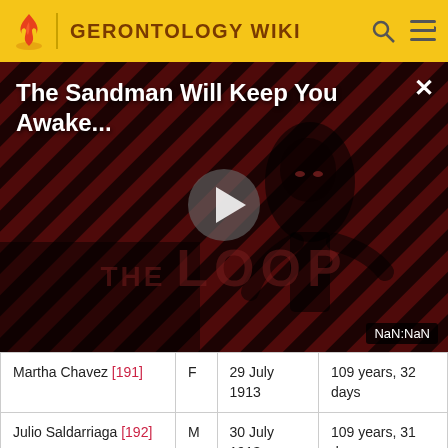GERONTOLOGY WIKI
[Figure (screenshot): Video player overlay showing 'The Sandman Will Keep You Awake...' title with a stylized figure in dark clothing against a red diagonal striped background. Shows play button, THE LOOP watermark, close button (×), and NaN:NaN timestamp.]
| Name | Sex | Born | Age |
| --- | --- | --- | --- |
| Martha Chavez [191] | F | 29 July 1913 | 109 years, 32 days |
| Julio Saldarriaga [192] | M | 30 July 1913 | 109 years, 31 days |
| [partial row cut off] | F | 31 July... | 109 years, 30... |